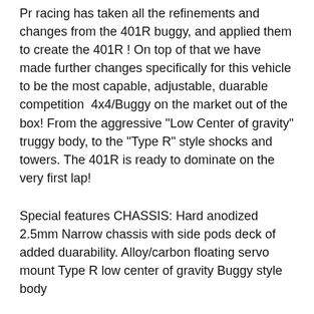Pr racing has taken all the refinements and changes from the 401R buggy, and applied them to create the 401R ! On top of that we have made further changes specifically for this vehicle to be the most capable, adjustable, duarable competition  4x4/Buggy on the market out of the box! From the aggressive "Low Center of gravity" truggy body, to the "Type R" style shocks and towers. The 401R is ready to dominate on the very first lap!
Special features CHASSIS: Hard anodized 2.5mm Narrow chassis with side pods deck of added duarability. Alloy/carbon floating servo mount Type R low center of gravity Buggy style body
TRANSMISSION Top loading Center gear differential with ultra hard cups Updated gear ratio Longer front and rear gear diff out drives for more droop SUSPENSION AND STEERING 12.75mm "LCG" Type R Shocks Type R "Low mount" Carbon fiber towers Insert style suspension blocks 3.5 Degree  caster